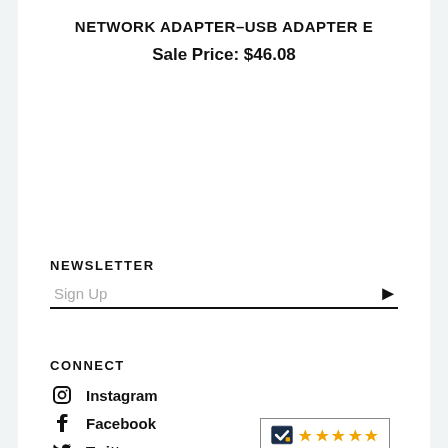NETWORK ADAPTER-USB ADAPTER E
Sale Price: $46.08
NEWSLETTER
Sign Up
CONNECT
Instagram
Facebook
Twitter
[Figure (logo): CE Showroom badge with 5 orange stars and ceshowroom.com text]